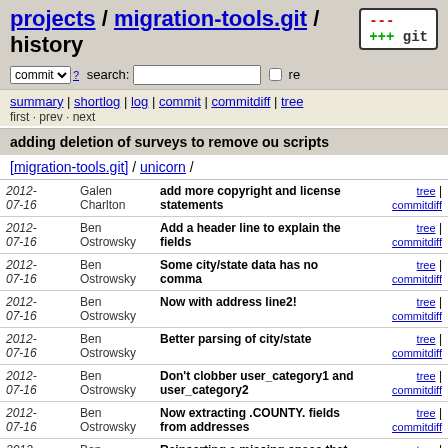projects / migration-tools.git / history
commit search: re
summary | shortlog | log | commit | commitdiff | tree
first · prev · next
adding deletion of surveys to remove ou scripts
[migration-tools.git] / unicorn /
| Date | Author | Message | Links |
| --- | --- | --- | --- |
| 2012-07-16 | Galen Charlton | add more copyright and license statements | tree | commitdiff |
| 2012-07-16 | Ben Ostrowsky | Add a header line to explain the fields | tree | commitdiff |
| 2012-07-16 | Ben Ostrowsky | Some city/state data has no comma | tree | commitdiff |
| 2012-07-16 | Ben Ostrowsky | Now with address line2! | tree | commitdiff |
| 2012-07-16 | Ben Ostrowsky | Better parsing of city/state | tree | commitdiff |
| 2012-07-16 | Ben Ostrowsky | Don't clobber user_category1 and user_category2 | tree | commitdiff |
| 2012-07-16 | Ben Ostrowsky | Now extracting .COUNTY. fields from addresses | tree | commitdiff |
| 2012-07-16 | Ben Ostrowsky | Reinserting a missing space that was causing trouble | tree | commitdiff |